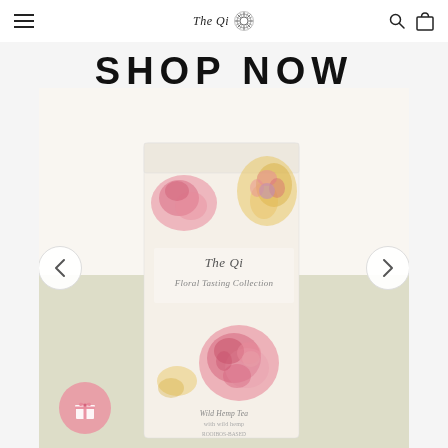The Qi (logo with sunburst icon)
SHOP NOW
[Figure (photo): The Qi Floral Tasting Collection tea box packaging with floral watercolor design (roses, echinacea), displayed against a cream and sage green background]